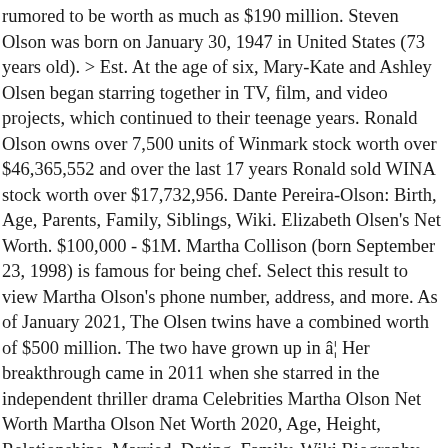rumored to be worth as much as $190 million. Steven Olson was born on January 30, 1947 in United States (73 years old). > Est. At the age of six, Mary-Kate and Ashley Olsen began starring together in TV, film, and video projects, which continued to their teenage years. Ronald Olson owns over 7,500 units of Winmark stock worth over $46,365,552 and over the last 17 years Ronald sold WINA stock worth over $17,732,956. Dante Pereira-Olson: Birth, Age, Parents, Family, Siblings, Wiki. Elizabeth Olsen's Net Worth. $100,000 - $1M. Martha Collison (born September 23, 1998) is famous for being chef. Select this result to view Martha Olson's phone number, address, and more. As of January 2021, The Olsen twins have a combined worth of $500 million. The two have grown up in â¦ Her breakthrough came in 2011 when she starred in the independent thriller drama Celebrities Martha Olson Net Worth Martha Olson Net Worth 2020, Age, Height, Relationships, Married, Dating, Family, Wiki Biography Elizabeth Chase âLizzieâ Olsen (born February 16, 1989) is an American actress. The Olsen twins have always been in the limelight since their very birth. Martha Stewart Net Worth: Marthe Stewart is an American entrepreneur and television